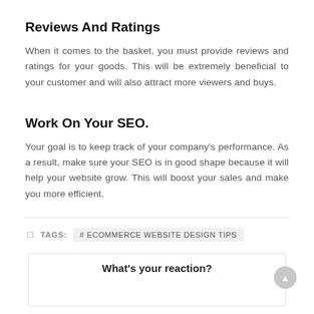Reviews And Ratings
When it comes to the basket, you must provide reviews and ratings for your goods. This will be extremely beneficial to your customer and will also attract more viewers and buys.
Work On Your SEO.
Your goal is to keep track of your company's performance. As a result, make sure your SEO is in good shape because it will help your website grow. This will boost your sales and make you more efficient.
TAGS: #ECOMMERCE WEBSITE DESIGN TIPS
What's your reaction?